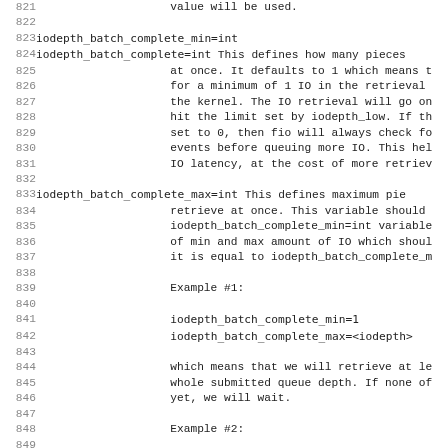Lines 821-852 of fio documentation showing iodepth_batch_complete_min, iodepth_batch_complete, and iodepth_batch_complete_max parameter descriptions with examples.